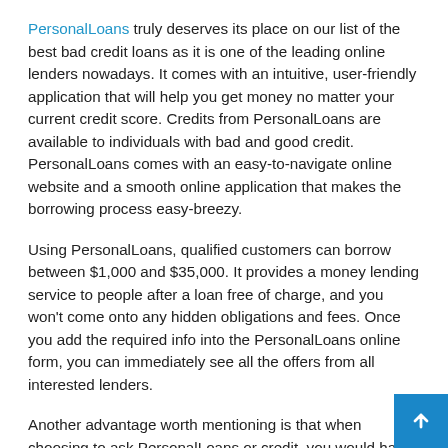PersonalLoans truly deserves its place on our list of the best bad credit loans as it is one of the leading online lenders nowadays. It comes with an intuitive, user-friendly application that will help you get money no matter your current credit score. Credits from PersonalLoans are available to individuals with bad and good credit. PersonalLoans comes with an easy-to-navigate online website and a smooth online application that makes the borrowing process easy-breezy.
Using PersonalLoans, qualified customers can borrow between $1,000 and $35,000. It provides a money lending service to people after a loan free of charge, and you won't come onto any hidden obligations and fees. Once you add the required info into the PersonalLoans online form, you can immediately see all the offers from all interested lenders.
Another advantage worth mentioning is that when choosing to ask PersonalLoans or credit, you would have a chance to customize the terms and rates. That means that you can pick...